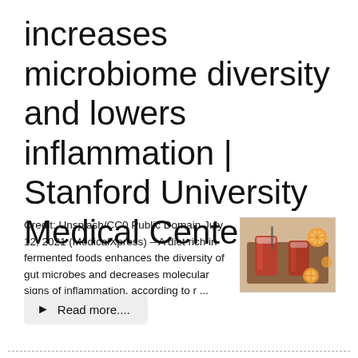increases microbiome diversity and lowers inflammation | Stanford University Medical Center
Credit: Unsplash/CC0 Public Domain July 12, 2021 (MedicalXpress) – A diet rich in fermented foods enhances the diversity of gut microbes and decreases molecular signs of inflammation, according to r ...
[Figure (photo): Photo of two reddish-orange drinks in glasses on a wooden tray with citrus slices]
▶ Read more....